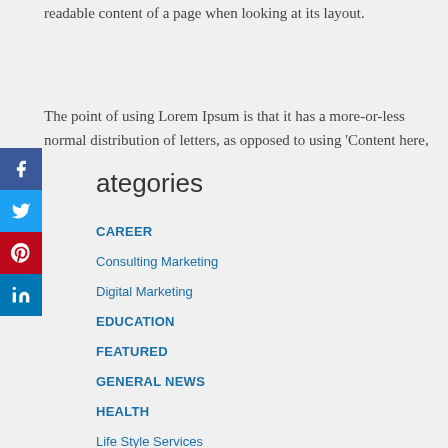readable content of a page when looking at its layout.
The point of using Lorem Ipsum is that it has a more-or-less normal distribution of letters, as opposed to using 'Content here,
Categories
CAREER
Consulting Marketing
Digital Marketing
EDUCATION
FEATURED
GENERAL NEWS
HEALTH
Life Style Services